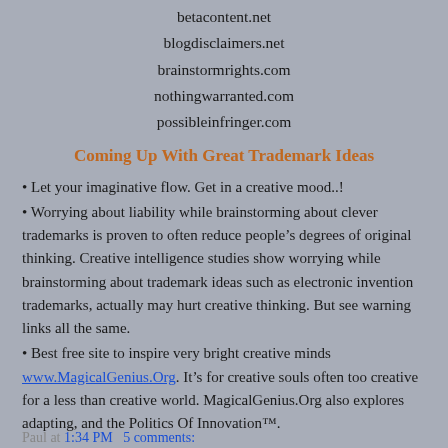betacontent.net
blogdisclaimers.net
brainstormrights.com
nothingwarranted.com
possibleinfringer.com
Coming Up With Great Trademark Ideas
Let your imaginative flow. Get in a creative mood..!
Worrying about liability while brainstorming about clever trademarks is proven to often reduce people’s degrees of original thinking. Creative intelligence studies show worrying while brainstorming about trademark ideas such as electronic invention trademarks, actually may hurt creative thinking. But see warning links all the same.
Best free site to inspire very bright creative minds www.MagicalGenius.Org. It’s for creative souls often too creative for a less than creative world. MagicalGenius.Org also explores adapting, and the Politics Of Innovation™.
TM Laws: Trademark laws vary by region and country. Hire an ethical trademark lawyer.
Paul at 1:34 PM   5 comments: